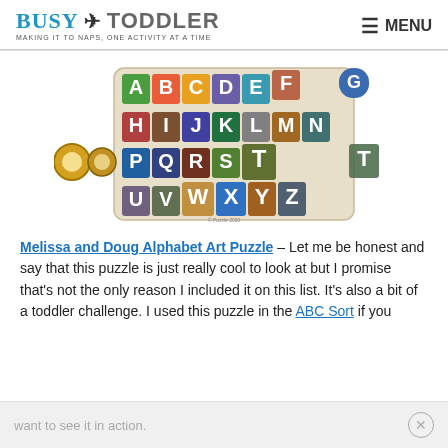BUSY TODDLER — MAKING IT TO NAPS, ONE ACTIVITY AT A TIME | MENU
[Figure (photo): Melissa and Doug Alphabet Art Puzzle showing colorful letter tiles A-Z arranged in rows on a wooden puzzle board, with some pieces removed]
Melissa and Doug Alphabet Art Puzzle – Let me be honest and say that this puzzle is just really cool to look at but I promise that's not the only reason I included it on this list. It's also a bit of a toddler challenge. I used this puzzle in the ABC Sort if you want to see it in action.